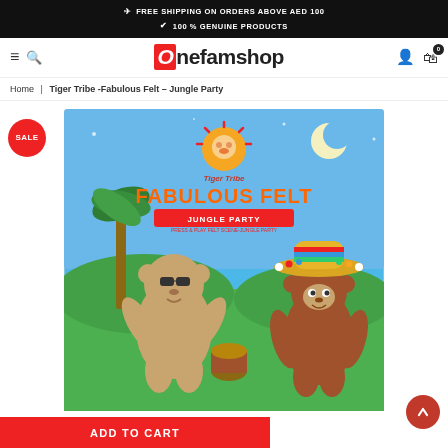FREE SHIPPING ON ORDERS ABOVE AED 100 | 100 % GENUINE PRODUCTS
[Figure (logo): Onefamshop logo with red stylized O and hamburger/search icons on left, user/cart icons on right]
Home | Tiger Tribe -Fabulous Felt - Jungle Party
[Figure (photo): Tiger Tribe Fabulous Felt Jungle Party product box showing illustrated jungle animals (lion in sunglasses and monkey in sombrero hat) with SALE badge overlay]
ADD TO CART